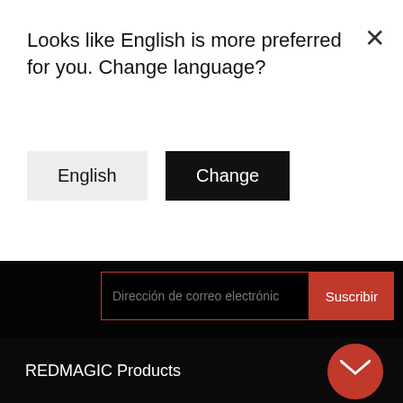Looks like English is more preferred for you. Change language?
English
Change
Dirección de correo electrónic
Suscribir
REDMAGIC Products
REDMAGIC Program
Partnership
Support